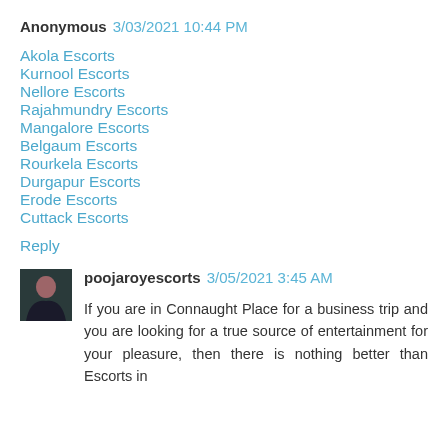Anonymous 3/03/2021 10:44 PM
Akola Escorts
Kurnool Escorts
Nellore Escorts
Rajahmundry Escorts
Mangalore Escorts
Belgaum Escorts
Rourkela Escorts
Durgapur Escorts
Erode Escorts
Cuttack Escorts
Reply
poojaroyescorts 3/05/2021 3:45 AM
If you are in Connaught Place for a business trip and you are looking for a true source of entertainment for your pleasure, then there is nothing better than Escorts in